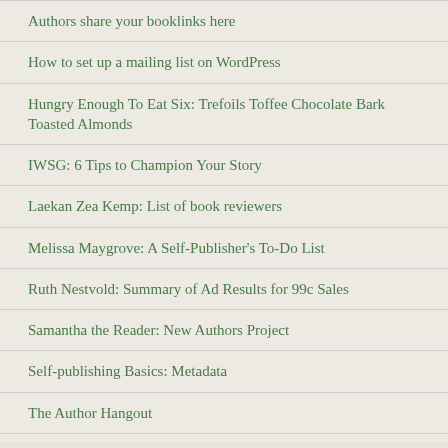Authors share your booklinks here
How to set up a mailing list on WordPress
Hungry Enough To Eat Six: Trefoils Toffee Chocolate Bark Toasted Almonds
IWSG: 6 Tips to Champion Your Story
Laekan Zea Kemp: List of book reviewers
Melissa Maygrove: A Self-Publisher's To-Do List
Ruth Nestvold: Summary of Ad Results for 99c Sales
Samantha the Reader: New Authors Project
Self-publishing Basics: Metadata
The Author Hangout
Posts I Like
How Imaginative Writers Can Wr... on Tame Your Book!